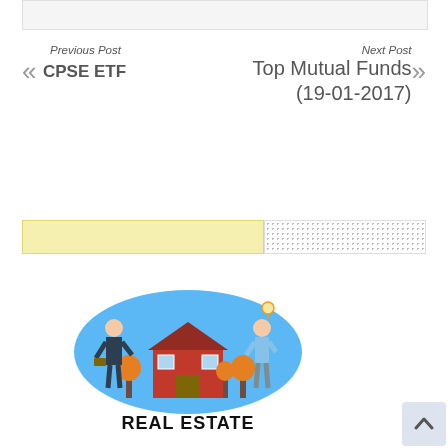[Figure (other): Top bar / header placeholder strip]
Previous Post
« CPSE ETF
Next Post
Top Mutual Funds (19-01-2017) »
[Figure (other): Advertisement bar with yellow block and dotted pattern block]
[Figure (illustration): Real Estate illustration showing two people, a house, and trees on a blue background with 'REAL ESTATE' text below]